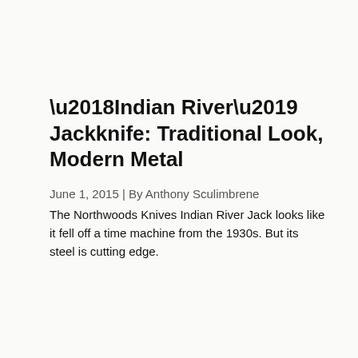‘Indian River’ Jackknife: Traditional Look, Modern Metal
June 1, 2015 | By Anthony Sculimbrene
The Northwoods Knives Indian River Jack looks like it fell off a time machine from the 1930s. But its steel is cutting edge.